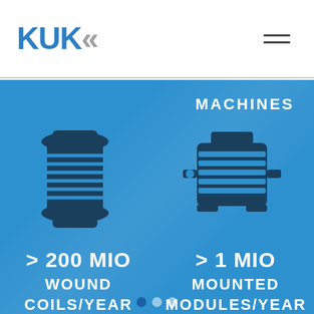[Figure (logo): KUK logo with blue text and grey double-chevron arrows]
[Figure (infographic): Blue background infographic showing MACHINES category with two icons (coil/winding spool and electric motor) and statistics: >200 MIO WOUND COILS/YEAR and >1 MIO MOUNTED MODULES/YEAR]
MACHINES
> 200 MIO
WOUND COILS/YEAR
> 1 MIO
MOUNTED MODULES/YEAR